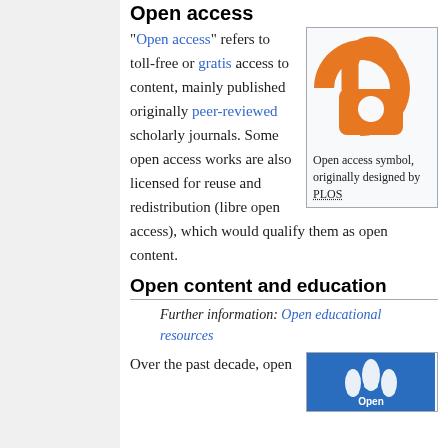Open access
[Figure (illustration): Open access logo - orange padlock symbol on light gray background]
Open access symbol, originally designed by PLOS
"Open access" refers to toll-free or gratis access to content, mainly published originally peer-reviewed scholarly journals. Some open access works are also licensed for reuse and redistribution (libre open access), which would qualify them as open content.
Open content and education
Further information: Open educational resources
Over the past decade, open
[Figure (illustration): Blue square icon with white hands raised and 'Open' text - open educational resources symbol]